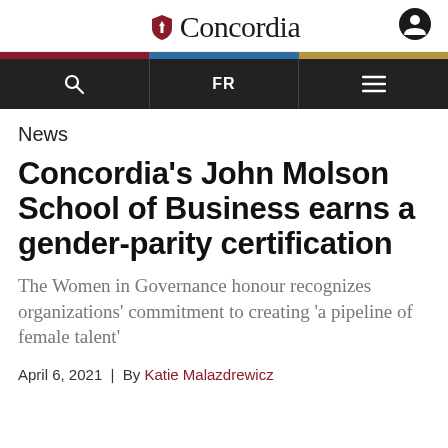Concordia
News
Concordia's John Molson School of Business earns a gender-parity certification
The Women in Governance honour recognizes organizations' commitment to creating 'a pipeline of female talent'
April 6, 2021 | By Katie Malazdrewicz